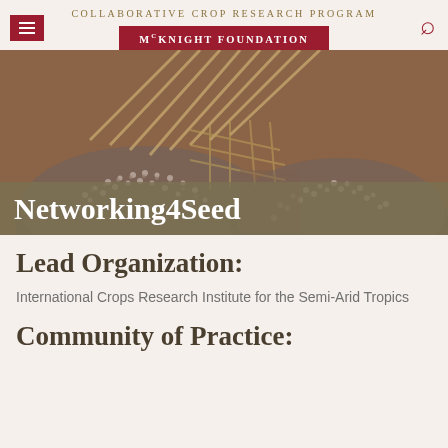COLLABORATIVE CROP RESEARCH PROGRAM
McKNIGHT FOUNDATION
[Figure (photo): Piles of small seeds (teff or similar grain) with woven baskets/stalks in the background, earthy tones]
Networking4Seed
Lead Organization:
International Crops Research Institute for the Semi-Arid Tropics
Community of Practice: